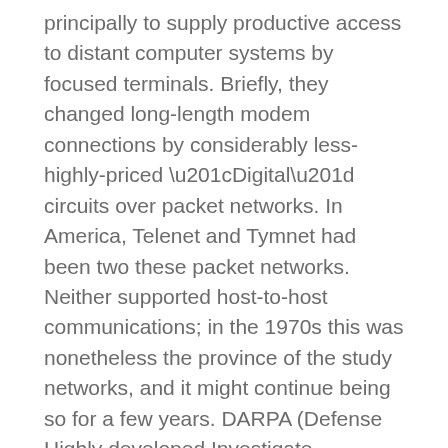principally to supply productive access to distant computer systems by focused terminals. Briefly, they changed long-length modem connections by considerably less-highly-priced “Digital” circuits over packet networks. In America, Telenet and Tymnet had been two these packet networks. Neither supported host-to-host communications; in the 1970s this was nonetheless the province of the study networks, and it might continue being so for a few years. DARPA (Defense Highly developed Investigate Assignments Agency; previously ARPA) supported initiatives for ground-dependent and satellite-dependent packet networks. The bottom-dependent packet radio method furnished cell access to computing assets, while the packet satellite community linked America with quite a few European countries and enabled connections with